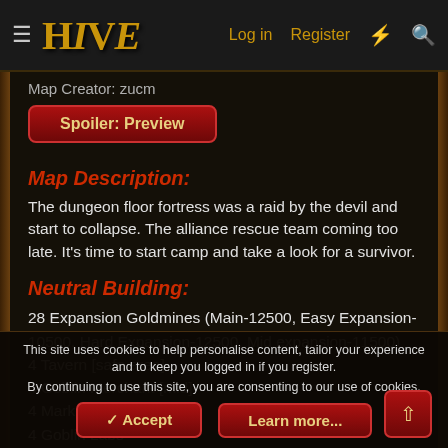HIVE — Log in | Register
Map Creator: zucm
Spoiler: Preview
Map Description:
The dungeon floor fortress was a raid by the devil and start to collapse. The alliance rescue team coming too late. It's time to start camp and take a look for a survivor.
Neutral Building:
28 Expansion Goldmines (Main-12500, Easy Expansion-10500, Hard Expansion-12500, Mid expansion-11500)
4 Tavern [safe area]
4 Goblin Merchant [mid]
4 Marketplace [mid]
4 Goblin Labs
4 Mercenary Camp
This site uses cookies to help personalise content, tailor your experience and to keep you logged in if you register.
By continuing to use this site, you are consenting to our use of cookies.